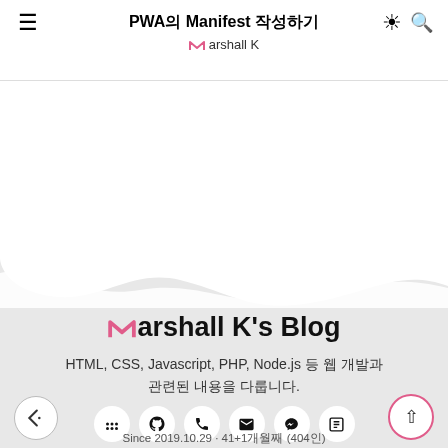PWA의 Manifest 작성하기 / Marshall K
[Figure (screenshot): Blog website screenshot showing Marshall K's Blog footer section with wave separator, blog logo, description text, social icons, and navigation buttons]
Marshall K's Blog
HTML, CSS, Javascript, PHP, Node.js 등 웹 개발과 관련된 내용을 다룹니다.
Since 2019.10.29 · 41+1 개월째 (404인)